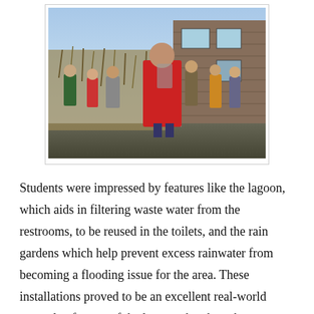[Figure (photo): Group of students standing outdoors near dried vegetation and a wooden building, one student wearing a red jacket prominently in the foreground]
Students were impressed by features like the lagoon, which aids in filtering waste water from the restrooms, to be reused in the toilets, and the rain gardens which help prevent excess rainwater from becoming a flooding issue for the area. These installations proved to be an excellent real-world example of many of the lessons they have been learning in their class. Even more impressive is the fact that this site, prior to being bought